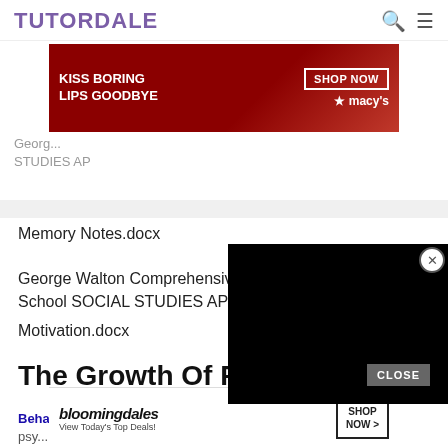TUTORDALE
[Figure (screenshot): Macy's advertisement banner: 'KISS BORING LIPS GOODBYE' with red lips image and SHOP NOW button]
George Walton Comprehensive High School SOCIAL STUDIES AP
Memory Notes.docx
George Walton Comprehensive High School SOCIAL STUDIES AP
Motivation.docx
The Growth Of Psychology
Behaviorism emerged early in the 20th centu... became... ioned by psy... ner
[Figure (screenshot): Black video overlay panel with close (X) button]
[Figure (screenshot): Bloomingdale's advertisement: 'View Today's Top Deals!' with SHOP NOW button]
CLOSE